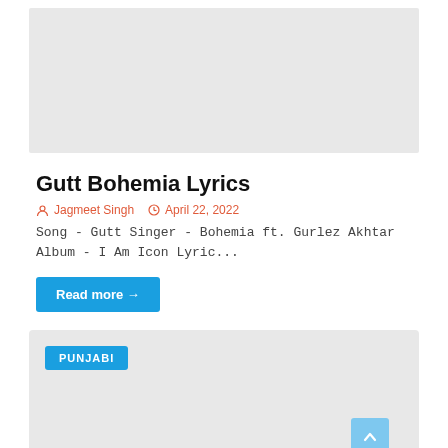[Figure (photo): Gray placeholder image at top of page]
Gutt Bohemia Lyrics
Jagmeet Singh   April 22, 2022
Song - Gutt Singer - Bohemia ft. Gurlez Akhtar Album - I Am Icon Lyric...
Read more →
[Figure (other): Gray card placeholder with PUNJABI badge label and scroll-to-top button]